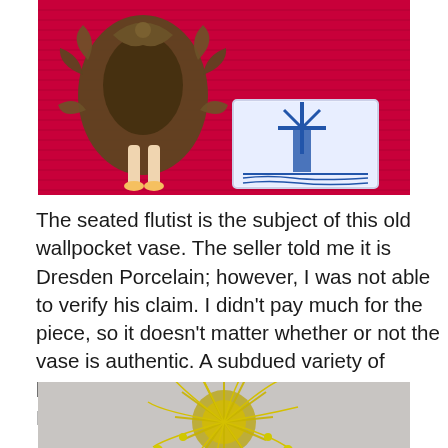[Figure (photo): A red tablecloth scene showing the base of a Dresden Porcelain wallpocket vase with ornate brass/bronze frame visible, and a blue and white Delft tile from Holland featuring a windmill design]
The seated flutist is the subject of this old wallpocket vase. The seller told me it is Dresden Porcelain; however, I was not able to verify his claim. I didn’t pay much for the piece, so it doesn’t matter whether or not the vase is authentic. A subdued variety of blooms crown the vase. A Delft tile from Holland anchors the still-life.
[Figure (photo): Yellow spider chrysanthemum with long thin petals and green foliage with small yellow buds, photographed against a gray background]